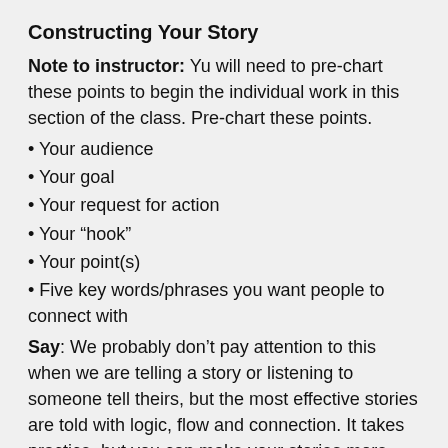Constructing Your Story
Note to instructor: Yu will need to pre-chart these points to begin the individual work in this section of the class. Pre-chart these points.
Your audience
Your goal
Your request for action
Your “hook”
Your point(s)
Five key words/phrases you want people to connect with
Say: We probably don’t pay attention to this when we are telling a story or listening to someone tell theirs, but the most effective stories are told with logic, flow and connection. It takes practice, but you can make your stories more effective if you